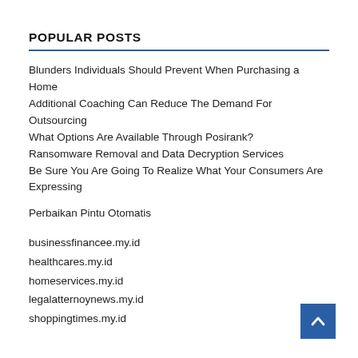POPULAR POSTS
Blunders Individuals Should Prevent When Purchasing a Home
Additional Coaching Can Reduce The Demand For Outsourcing
What Options Are Available Through Posirank?
Ransomware Removal and Data Decryption Services
Be Sure You Are Going To Realize What Your Consumers Are Expressing
Perbaikan Pintu Otomatis
businessfinancee.my.id
healthcares.my.id
homeservices.my.id
legalatternoynews.my.id
shoppingtimes.my.id